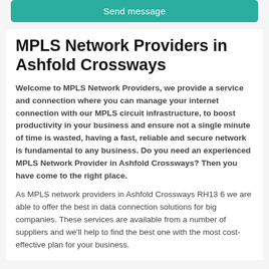Send message
MPLS Network Providers in Ashfold Crossways
Welcome to MPLS Network Providers, we provide a service and connection where you can manage your internet connection with our MPLS circuit infrastructure, to boost productivity in your business and ensure not a single minute of time is wasted, having a fast, reliable and secure network is fundamental to any business. Do you need an experienced MPLS Network Provider in Ashfold Crossways? Then you have come to the right place.
As MPLS network providers in Ashfold Crossways RH13 6 we are able to offer the best in data connection solutions for big companies. These services are available from a number of suppliers and we'll help to find the best one with the most cost-effective plan for your business.